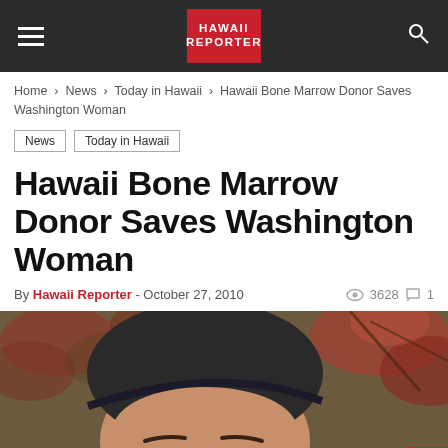Hawaii Reporter
Home > News > Today in Hawaii > Hawaii Bone Marrow Donor Saves Washington Woman
News
Today in Hawaii
Hawaii Bone Marrow Donor Saves Washington Woman
By Hawaii Reporter - October 27, 2010   3628   1
[Figure (photo): Close-up portrait of a person wearing a dark hat/headscarf, with reddish foliage visible in the background.]